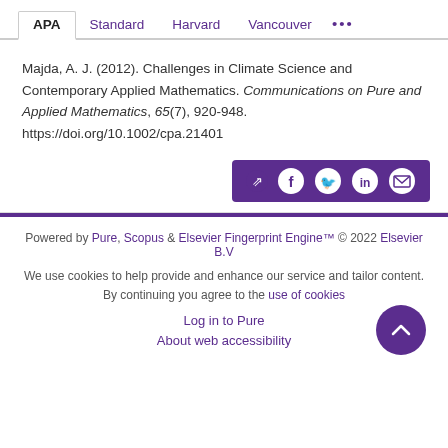APA | Standard | Harvard | Vancouver | ...
Majda, A. J. (2012). Challenges in Climate Science and Contemporary Applied Mathematics. Communications on Pure and Applied Mathematics, 65(7), 920-948. https://doi.org/10.1002/cpa.21401
[Figure (other): Share buttons bar with icons for share, Facebook, Twitter, LinkedIn, and email on purple background]
Powered by Pure, Scopus & Elsevier Fingerprint Engine™ © 2022 Elsevier B.V
We use cookies to help provide and enhance our service and tailor content. By continuing you agree to the use of cookies
Log in to Pure
About web accessibility